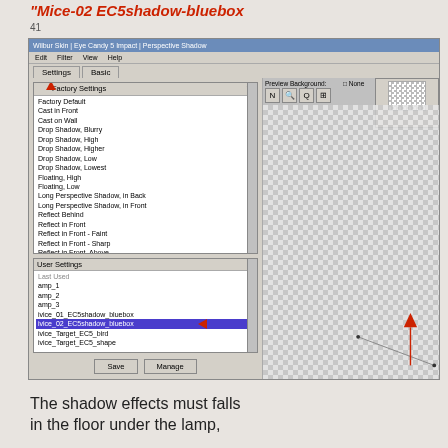"Mice-02 EC5shadow-bluebox
41
[Figure (screenshot): Photoshop plugin dialog: Wilbur Skin | Eye Candy 5 Impact | Perspective Shadow. Left panel shows Factory Settings list (Factory Default, Cast in Front, Cast on Wall, Drop Shadow Blurry, Drop Shadow High, Drop Shadow Higher, Drop Shadow Low, Drop Shadow Lowest, Floating High, Floating Low, Long Perspective Shadow in Back, Long Perspective Shadow in Front, Reflect Behind, Reflect in Front, Reflect in Front - Faint, Reflect in Front - Sharp, Reflect in Front - Above, Reflect in Front - Above and Close, Reflect in Front - Short, Show Perspective Shadow in Back). Below is User Settings list with: Last Used, amp_1, amp_2, amp_3, ivice_01_EC5shadow_bluebox, ivice_02_EC5shadow_bluebox (selected/highlighted), ivice_Target_EC5_bird, ivice_Target_EC5_shape. Save and Manage buttons at bottom. Red arrows point to factory settings list and to the selected user setting. Right side shows checkerboard preview with a shadow line visible. Another red arrow points to a node/anchor in the preview.]
The shadow effects must falls
in the floor under the lamp,